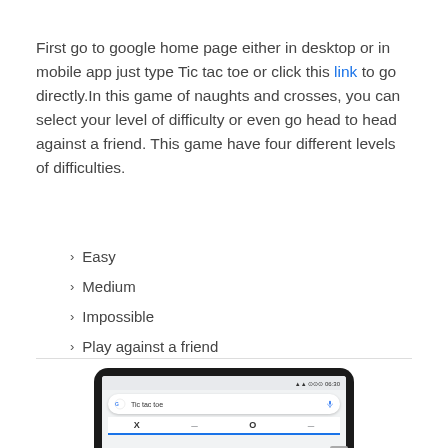First go to google home page either in desktop or in mobile app just type Tic tac toe or click this link to go directly.In this game of naughts and crosses, you can select your level of difficulty or even go head to head against a friend. This game have four different levels of difficulties.
Easy
Medium
Impossible
Play against a friend
[Figure (screenshot): Screenshot of a mobile phone showing the Google search bar with 'Tic tac toe' typed and the beginning of the Tic tac toe game interface showing X and O tabs]